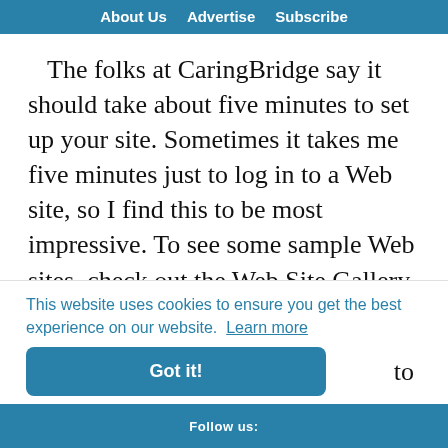About Us   Advertise   Subscribe
The folks at CaringBridge say it should take about five minutes to set up your site. Sometimes it takes me five minutes just to log in to a Web site, so I find this to be most impressive. To see some sample Web sites, check out the Web Site Gallery (http://www.caringbridge.org/stylegallery). Each
This website uses cookies to ensure you get the best experience on our website.  Learn more
Got it!
to
Follow us: